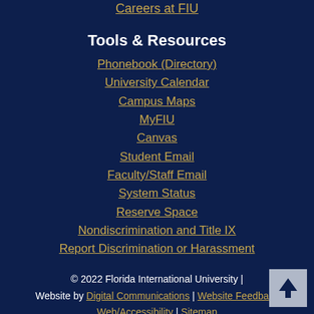Careers at FIU
Tools & Resources
Phonebook (Directory)
University Calendar
Campus Maps
MyFIU
Canvas
Student Email
Faculty/Staff Email
System Status
Reserve Space
Nondiscrimination and Title IX
Report Discrimination or Harassment
© 2022 Florida International University | Website by Digital Communications | Website Feedback | Web/Accessibility | Sitemap